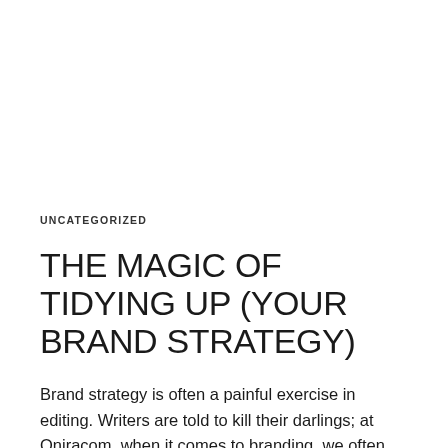UNCATEGORIZED
THE MAGIC OF TIDYING UP (YOUR BRAND STRATEGY)
Brand strategy is often a painful exercise in editing. Writers are told to kill their darlings; at Oniracom, when it comes to branding, we often recommend “cull your darlings.” That means taking a hard look at everything you’re